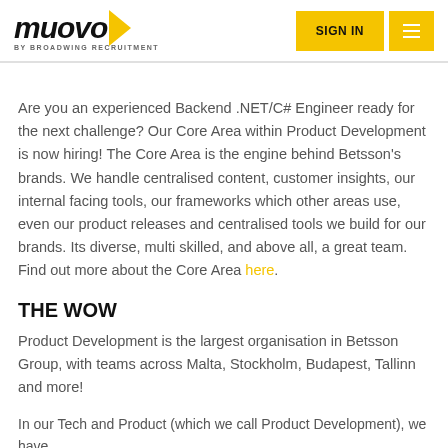muovo by Broadwing Recruitment | SIGN IN
Are you an experienced Backend .NET/C# Engineer ready for the next challenge? Our Core Area within Product Development is now hiring! The Core Area is the engine behind Betsson's brands. We handle centralised content, customer insights, our internal facing tools, our frameworks which other areas use, even our product releases and centralised tools we build for our brands. Its diverse, multi skilled, and above all, a great team. Find out more about the Core Area here.
THE WOW
Product Development is the largest organisation in Betsson Group, with teams across Malta, Stockholm, Budapest, Tallinn and more!
In our Tech and Product (which we call Product Development), we have